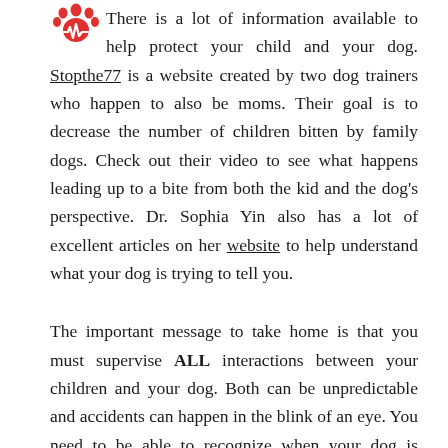There is a lot of information available to help protect your child and your dog. Stopthe77 is a website created by two dog trainers who happen to also be moms. Their goal is to decrease the number of children bitten by family dogs. Check out their video to see what happens leading up to a bite from both the kid and the dog's perspective. Dr. Sophia Yin also has a lot of excellent articles on her website to help understand what your dog is trying to tell you.
The important message to take home is that you must supervise ALL interactions between your children and your dog. Both can be unpredictable and accidents can happen in the blink of an eye. You need to be able to recognize when your dog is stressed and teach your children to respect Fido's personal space as they would